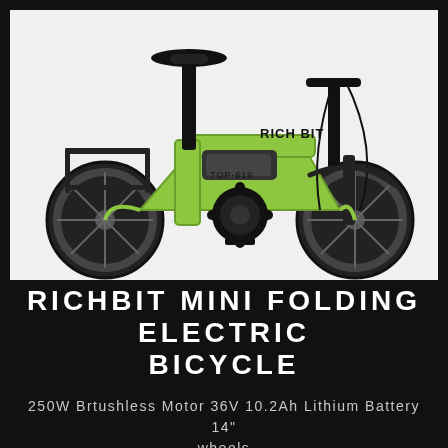[Figure (photo): Green and black RICHBIT TOP-619 mini folding electric bicycle on white background, showing the full side profile with black seat, handlebars, rear rack, chain gears, and two wheels]
RICHBIT MINI FOLDING ELECTRIC BICYCLE
250W Brtushless Motor 36V 10.2Ah Lithium Battery 14" wheels
LERAN MORE